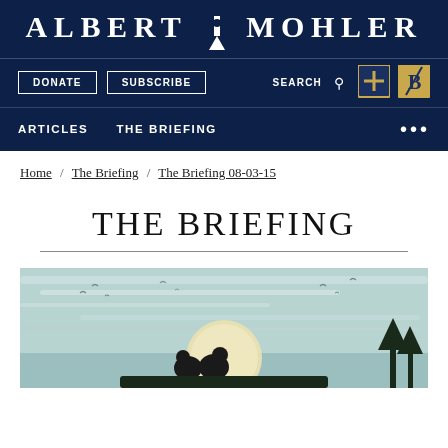ALBERT MOHLER
DONATE  SUBSCRIBE  SEARCH  [logo icons]
ARTICLES  THE BRIEFING
Home / The Briefing / The Briefing 08-03-15
THE BRIEFING
[Figure (illustration): An illustration of two silhouetted figures sitting and looking at a large white/yellow sun or moon on the horizon, with birds in a pale teal/mint sky.]